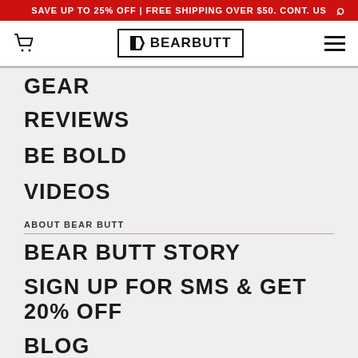SAVE UP TO 25% OFF | FREE SHIPPING OVER $50. CONT. US
[Figure (logo): Bear Butt logo with flag icon in bordered box]
REVIEWS
BE BOLD
VIDEOS
ABOUT BEAR BUTT
BEAR BUTT STORY
SIGN UP FOR SMS & GET 20% OFF
BLOG
CONTACT
WARRANTY